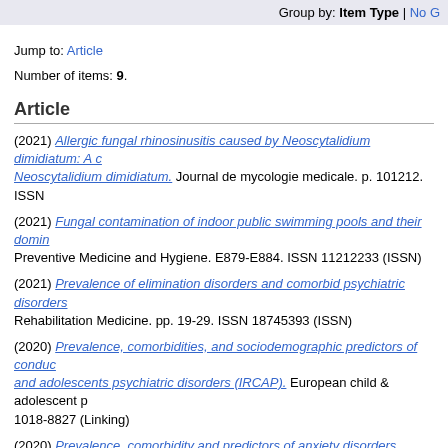Group by: Item Type | No G
Jump to: Article
Number of items: 9.
Article
(2021) Allergic fungal rhinosinusitis caused by Neoscytalidium dimidiatum: A c... Neoscytalidium dimidiatum. Journal de mycologie medicale. p. 101212. ISSN
(2021) Fungal contamination of indoor public swimming pools and their domin... Preventive Medicine and Hygiene. E879-E884. ISSN 11212233 (ISSN)
(2021) Prevalence of elimination disorders and comorbid psychiatric disorders... Rehabilitation Medicine. pp. 19-29. ISSN 18745393 (ISSN)
(2020) Prevalence, comorbidities, and sociodemographic predictors of conduc... and adolescents psychiatric disorders (IRCAP). European child & adolescent p... 1018-8827 (Linking)
(2020) Prevalence, comorbidity and predictors of anxiety disorders among chi... 18762018 (ISSN)
(2019) Gender Determines the Pattern of Correlation between Body Mass Ind... Adolescents: Results from Iranian Children and Adolescents' Psychiatric Disor... 2168
(2019) Prevalence and correlates of psychiatric disorders in a national survey...